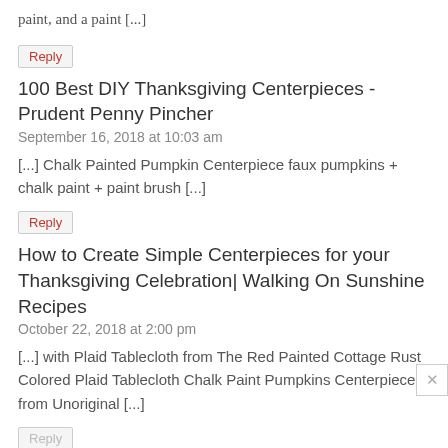paint, and a paint [...]
Reply
100 Best DIY Thanksgiving Centerpieces - Prudent Penny Pincher
September 16, 2018 at 10:03 am
[...] Chalk Painted Pumpkin Centerpiece faux pumpkins + chalk paint + paint brush [...]
Reply
How to Create Simple Centerpieces for your Thanksgiving Celebration| Walking On Sunshine Recipes
October 22, 2018 at 2:00 pm
[...] with Plaid Tablecloth from The Red Painted Cottage Rust Colored Plaid Tablecloth Chalk Paint Pumpkins Centerpiece from Unoriginal [...]
Reply